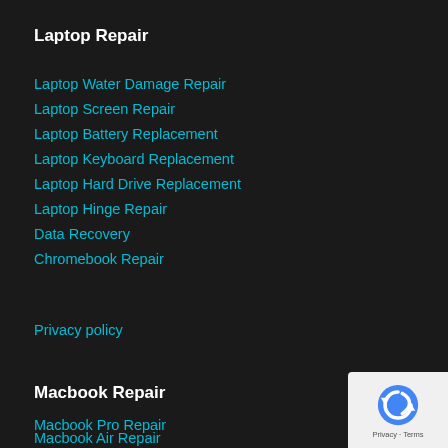Laptop Repair
Laptop Water Damage Repair
Laptop Screen Repair
Laptop Battery Replacement
Laptop Keyboard Replacement
Laptop Hard Drive Replacement
Laptop Hinge Repair
Data Recovery
Chromebook Repair
Privacy policy
Macbook Repair
Macbook Pro Repair
Macbook Air Repair
Macbook Screen Repair
[Figure (logo): reCAPTCHA badge with recycle-arrow logo and Privacy - Terms text]